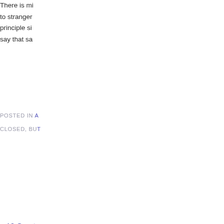There is m... to stranger... principle si... say that sa...
POSTED IN A... CLOSED, BU...
« 10 Great... 2022